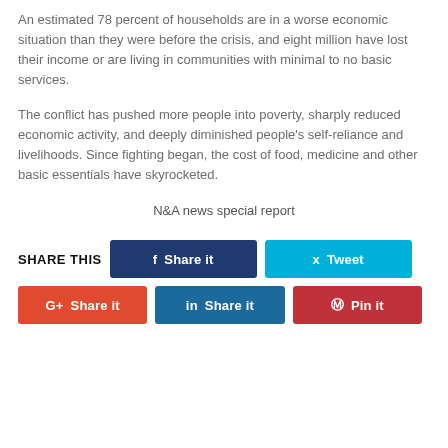An estimated 78 percent of households are in a worse economic situation than they were before the crisis, and eight million have lost their income or are living in communities with minimal to no basic services.
The conflict has pushed more people into poverty, sharply reduced economic activity, and deeply diminished people's self-reliance and livelihoods. Since fighting began, the cost of food, medicine and other basic essentials have skyrocketed.
N&A news special report
SHARE THIS  Share it  Tweet  Share it  Share it  Pin it